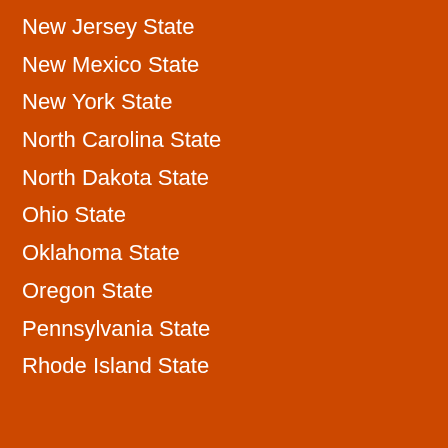New Jersey State
New Mexico State
New York State
North Carolina State
North Dakota State
Ohio State
Oklahoma State
Oregon State
Pennsylvania State
Rhode Island State